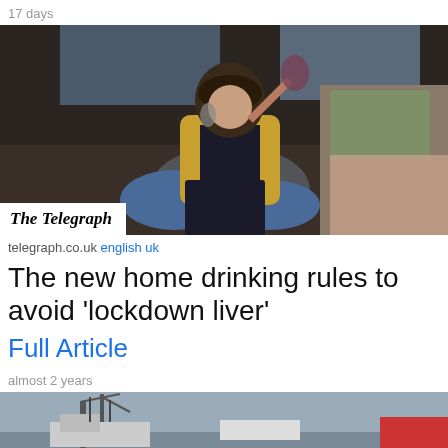17 days
[Figure (photo): Woman sitting on floor drinking wine and reading a book, wearing yellow cardigan and blue jeans, with a bed and room in background. The Telegraph logo overlay in bottom left corner.]
telegraph.co.uk english uk
The new home drinking rules to avoid 'lockdown liver'
Full Article
almost 2 years
[Figure (photo): Partial photo showing a port/harbor with cranes and ships, grey sky background.]